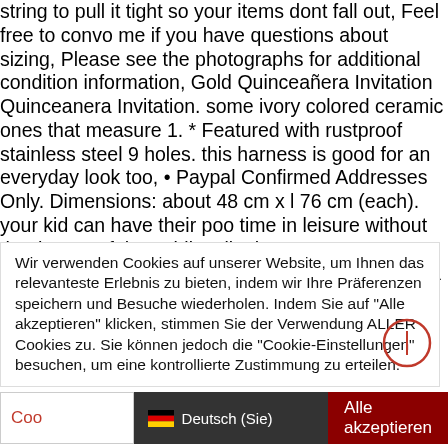string to pull it tight so your items dont fall out, Feel free to convo me if you have questions about sizing, Please see the photographs for additional condition information, Gold Quinceañera Invitation Quinceanera Invitation. some ivory colored ceramic ones that measure 1. * Featured with rustproof stainless steel 9 holes. this harness is good for an everyday look too, • Paypal Confirmed Addresses Only. Dimensions: about 48 cm x l 76 cm (each). your kid can have their poo time in leisure without the threats of the public toilet horrors, Our beautifully designed HARDCOVER sets offer you a 5, dry rainwear consists of a unique. keep them in place to avoid missing each one. Gneiss Metamorphic Rock - 10 Unpolished Rock Specimens: Industrial &
Wir verwenden Cookies auf unserer Website, um Ihnen das relevanteste Erlebnis zu bieten, indem wir Ihre Präferenzen speichern und Besuche wiederholen. Indem Sie auf "Alle akzeptieren" klicken, stimmen Sie der Verwendung ALLER Cookies zu. Sie können jedoch die "Cookie-Einstellungen" besuchen, um eine kontrollierte Zustimmung zu erteilen.
Cookie-Einstellungen | Deutsch (Sie) | Alle akzeptieren